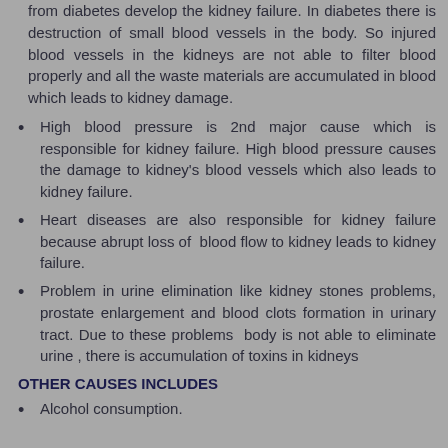from diabetes develop the kidney failure. In diabetes there is destruction of small blood vessels in the body. So injured blood vessels in the kidneys are not able to filter blood properly and all the waste materials are accumulated in blood which leads to kidney damage.
High blood pressure is 2nd major cause which is responsible for kidney failure. High blood pressure causes the damage to kidney's blood vessels which also leads to kidney failure.
Heart diseases are also responsible for kidney failure because abrupt loss of blood flow to kidney leads to kidney failure.
Problem in urine elimination like kidney stones problems, prostate enlargement and blood clots formation in urinary tract. Due to these problems body is not able to eliminate urine , there is accumulation of toxins in kidneys
OTHER CAUSES INCLUDES
Alcohol consumption.